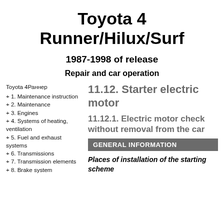Toyota 4 Runner/Hilux/Surf
1987-1998 of release
Repair and car operation
Toyota 4Раннер
+ 1. Maintenance instruction
+ 2. Maintenance
+ 3. Engines
+ 4. Systems of heating, ventilation
+ 5. Fuel and exhaust systems
+ 6. Transmissions
+ 7. Transmission elements
+ 8. Brake system
11.12. Starter electric motor
11.12.1. Electric motor check without removal from the car
GENERAL INFORMATION
Places of installation of the starting scheme